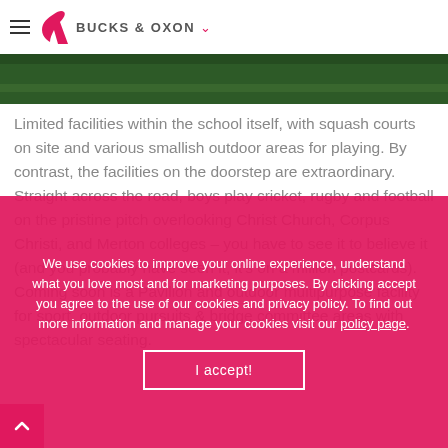BUCKS & OXON
[Figure (photo): Green outdoor scene, partially cropped image strip]
Limited facilities within the school itself, with squash courts on site and various smallish outdoor areas for playing. By contrast, the facilities on the doorstep are extraordinary. Straight across the road, boys play cricket, rugby and football on the pristine pitch overlooking Christ Church, Corpus Christi, and Merton colleges – you have to see it to believe it (and you probably have seen it, it's on a million postcards). Coming soon is a Pavilion and outdoor multipurpose facility for sport, outdoor pursuits & bridge committee areas with spectacular seating.
We use cookies to improve your online experience, understand what you love most and for marketing purposes. By clicking accept you agree to the use of our cookies and privacy policy. To find out more information and manage your cookies visit our policy page.
I accept!